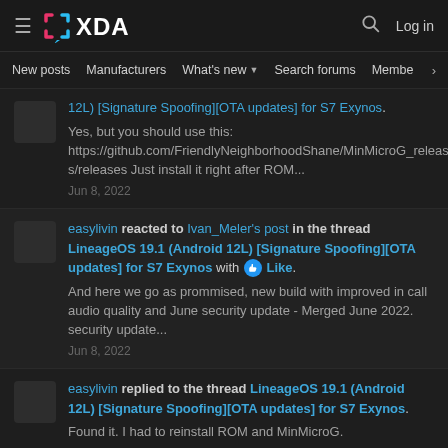XDA Forums - Log in
New posts | Manufacturers | What's new | Search forums | Members
easylivin reacted to [thread link] LineageOS 19.1 (Android 12L) [Signature Spoofing][OTA updates] for S7 Exynos. Yes, but you should use this: https://github.com/FriendlyNeighborhoodShane/MinMicroG_releases/releases Just install it right after ROM... Jun 8, 2022
easylivin reacted to Ivan_Meler's post in the thread LineageOS 19.1 (Android 12L) [Signature Spoofing][OTA updates] for S7 Exynos with Like. And here we go as prommised, new build with improved in call audio quality and June security update - Merged June 2022. security update... Jun 8, 2022
easylivin replied to the thread LineageOS 19.1 (Android 12L) [Signature Spoofing][OTA updates] for S7 Exynos. Found it. I had to reinstall ROM and MinMicroG.